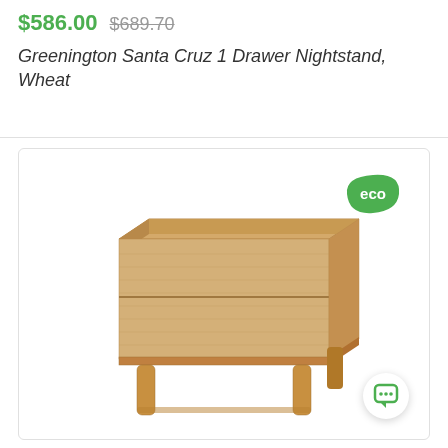$586.00  $689.70
Greenington Santa Cruz 1 Drawer Nightstand, Wheat
[Figure (photo): Product photo of a bamboo nightstand (Greenington Santa Cruz 1 Drawer Nightstand in Wheat finish) with an eco badge in the top-right corner and a chat button in the bottom-right corner.]